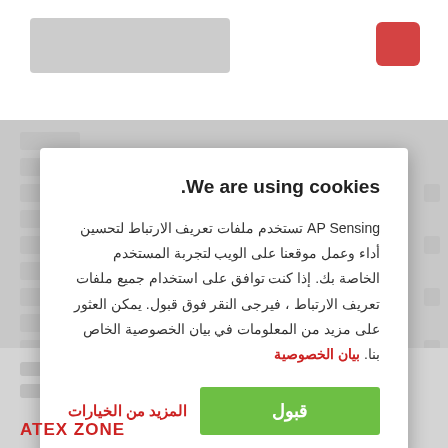[Figure (screenshot): Blurred website background with header logo area and red icon in top right corner]
We are using cookies.
AP Sensing تستخدم ملفات تعريف الارتباط لتحسين أداء وعمل موقعنا على الويب لتجربة المستخدم الخاصة بك. إذا كنت توافق على استخدام جميع ملفات تعريف الارتباط ، فيرجى النقر فوق قبول. يمكن العثور على مزيد من المعلومات في بيان الخصوصية الخاص بنا. بيان الخصوصية
قبول
المزيد من الخيارات